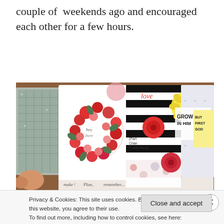couple of  weekends ago and encouraged each other for a few hours.
[Figure (photo): Colorful scrapbooking pages and cards spread out, featuring floral designs, handwritten text, polka dots, black and white stripes, and inspirational phrases like 'Grow in Him', 'But First God', and 'Plan, Remember'.]
Privacy & Cookies: This site uses cookies. By continuing to use this website, you agree to their use.
To find out more, including how to control cookies, see here: Cookie Policy
Close and accept